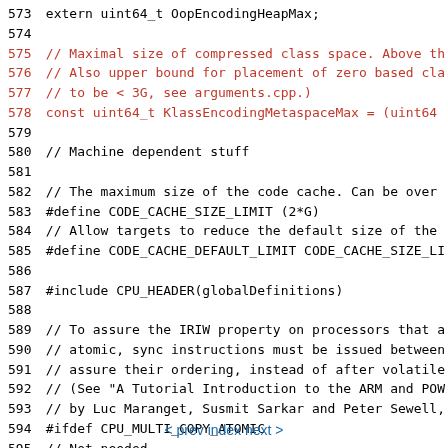573 extern uint64_t OopEncodingHeapMax;
574
575 // Maximal size of compressed class space. Above th
576 // Also upper bound for placement of zero based cla
577 // to be < 3G, see arguments.cpp.)
578 const  uint64_t KlassEncodingMetaspaceMax = (uint64
579
580 // Machine dependent stuff
581
582 // The maximum size of the code cache.  Can be over
583 #define CODE_CACHE_SIZE_LIMIT (2*G)
584 // Allow targets to reduce the default size of the
585 #define CODE_CACHE_DEFAULT_LIMIT CODE_CACHE_SIZE_LI
586
587 #include CPU_HEADER(globalDefinitions)
588
589 // To assure the IRIW property on processors that a
590 // atomic, sync instructions must be issued between
591 // assure their ordering, instead of after volatile
592 // (See "A Tutorial Introduction to the ARM and POW
593 // by Luc Maranget, Susmit Sarkar and Peter Sewell,
594 #ifdef CPU_MULTI_COPY_ATOMIC
595 // Not needed.
596 const bool support_IRIW_for_not_multiple_copy_atomi
597 #else
598 // From all non-multi-copy-atomic architectures, on
599 // Final decision is subject to JEP 188: Java Memor
< prev   index   next >